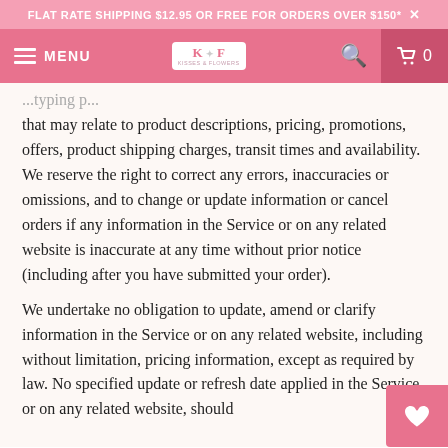FLAT RATE SHIPPING $12.95 OR FREE FOR ORDERS OVER $150* ×
that may relate to product descriptions, pricing, promotions, offers, product shipping charges, transit times and availability. We reserve the right to correct any errors, inaccuracies or omissions, and to change or update information or cancel orders if any information in the Service or on any related website is inaccurate at any time without prior notice (including after you have submitted your order).
We undertake no obligation to update, amend or clarify information in the Service or on any related website, including without limitation, pricing information, except as required by law. No specified update or refresh date applied in the Service or on any related website, should